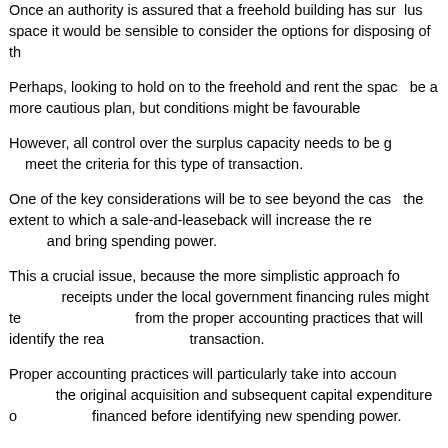Once an authority is assured that a freehold building has surplus space it would be sensible to consider the options for disposing of the surplus.
Perhaps, looking to hold on to the freehold and rent the space out might be a more cautious plan, but conditions might be favourable to sell.
However, all control over the surplus capacity needs to be given up to meet the criteria for this type of transaction.
One of the key considerations will be to see beyond the cash receipts and the extent to which a sale-and-leaseback will increase the revenue costs and bring spending power.
This a crucial issue, because the more simplistic approach for treating receipts under the local government financing rules might tell a different story from the proper accounting practices that will identify the real costs of the transaction.
Proper accounting practices will particularly take into account the cost of the original acquisition and subsequent capital expenditure on the asset financed before identifying new spending power.